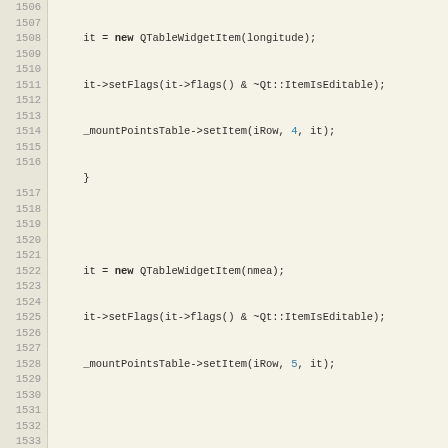[Figure (screenshot): Source code editor screenshot showing C++ code lines 1506-1534 with line numbers on the left and syntax-highlighted code on the right. Includes QTableWidgetItem operations, bncTableItem creation, iRow increment, sortItems call, enableStartStop call, and a void function declaration.]